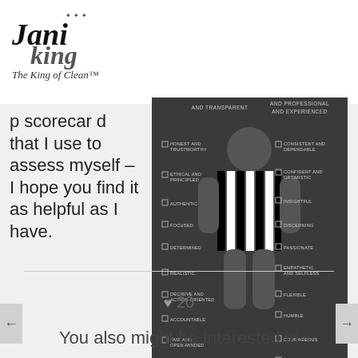[Figure (logo): Jani-King logo with crown stars, italic text 'Jani' and 'king', tagline 'The King of Clean']
p scorecard that I use to assess myself – I hope you find it as helpful as I have.
[Figure (infographic): Leadership scorecard checklist infographic with a stylized human figure in black and white stripes, with checkbox traits on left and right sides: AND TRANSPARENT, HONEST AND TRUSTWORTHY, ETHICAL AND PRINCIPLED, AUTHENTIC, FOCUSED, DETERMINED, REALISTIC, DECISIVE AND ACTION-ORIENTED, ACCOUNTABLE, FAIR AND OPEN-MINDED on the left; AND EXPERIENCED, CONSISTENT AND DEPENDABLE, CONFIDENT AND OPTIMISTIC, INSIGHTFUL, DISCERNING, PASSIONATE, EMPATHETIC AND SELFLESS, FLEXIBLE, HUMBLE, COURAGEOUS, HARDWORKING on the right.]
♥ 20
You also might be interested in